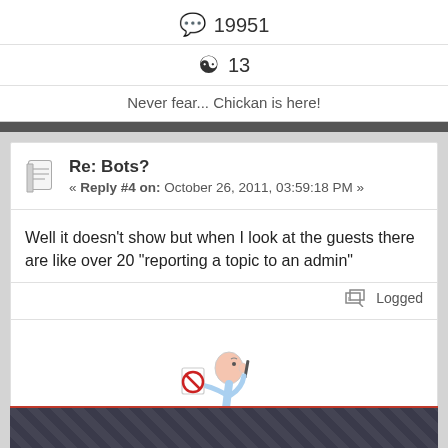💬 19951
☯ 13
Never fear... Chickan is here!
Re: Bots?
« Reply #4 on: October 26, 2011, 03:59:18 PM »
Well it doesn't show but when I look at the guests there are like over 20 "reporting a topic to an admin"
Logged
[Figure (illustration): Stick figure character holding a paper with a red no symbol, looking upward with a pen near their ear]